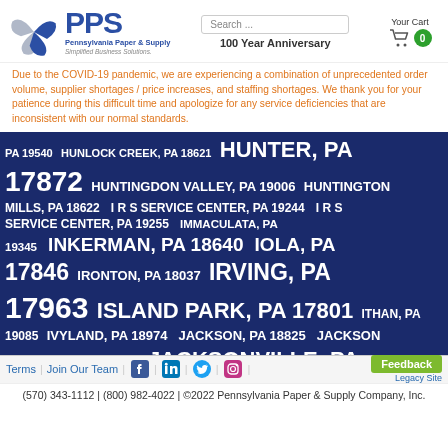[Figure (logo): PPS Pennsylvania Paper & Supply logo with pinwheel graphic, blue text reading PPS, Pennsylvania Paper & Supply, Simplified Business Solutions.]
Search ...
100 Year Anniversary
Your Cart
Due to the COVID-19 pandemic, we are experiencing a combination of unprecedented order volume, supplier shortages / price increases, and staffing shortages. We thank you for your patience during this difficult time and apologize for any service deficiencies that are inconsistent with our normal standards.
PA 19540   HUNLOCK CREEK, PA 18621   HUNTER, PA 17872   HUNTINGDON VALLEY, PA 19006   HUNTINGTON MILLS, PA 18622   I R S SERVICE CENTER, PA 19244   I R S SERVICE CENTER, PA 19255   IMMACULATA, PA 19345   INKERMAN, PA 18640   IOLA, PA 17846   IRONTON, PA 18037   IRVING, PA 17963   ISLAND PARK, PA 17801   ITHAN, PA 19085   IVYLAND, PA 18974   JACKSON, PA 18825   JACKSON TOWNSHIP, PA 18708   JACKSONVILLE, PA 19598   JACKSONWALD, PA 19020   JAFFERS
Terms | Join Our Team | [Facebook] | [LinkedIn] | [Twitter] | [Instagram] | Feedback | Legacy Site
(570) 343-1112 | (800) 982-4022 | ©2022 Pennsylvania Paper & Supply Company, Inc.